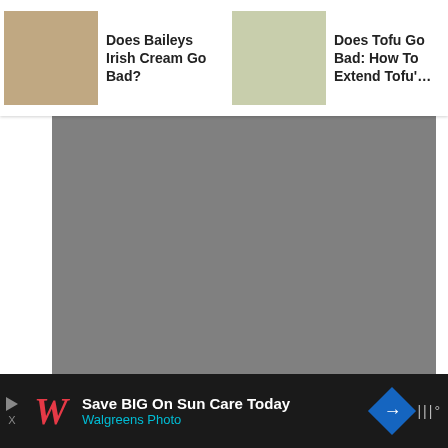[Figure (screenshot): Related articles navigation bar with three article thumbnails and titles: 'Does Baileys Irish Cream Go Bad?', 'Does Tofu Go Bad: How To Extend Tofu'...', 'Does Kimo Go Bad?']
[Figure (photo): Gray placeholder for an advertisement block]
[Figure (photo): Gray placeholder for article image with overlaid title 'How To Store Fresh Mint?' and floating action buttons (up arrow, heart, search)]
How To Store Fresh Mint?
[Figure (screenshot): Bottom advertisement banner: Walgreens Photo 'Save BIG On Sun Care Today' with navigation arrow icon and app logo on right]